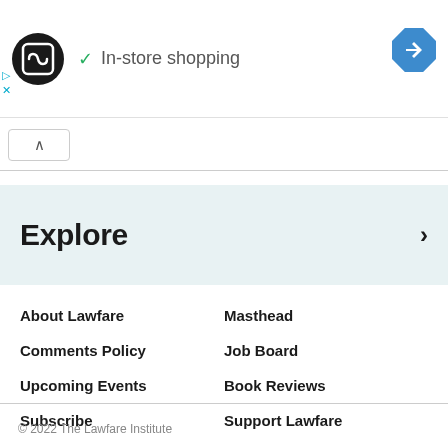[Figure (logo): Black circle logo with white infinity/loop symbol inside a rounded square]
✓ In-store shopping
[Figure (other): Blue diamond navigation icon with white arrow]
▷
×
∧
Explore
About Lawfare
Masthead
Comments Policy
Job Board
Upcoming Events
Book Reviews
Subscribe
Support Lawfare
© 2022 The Lawfare Institute